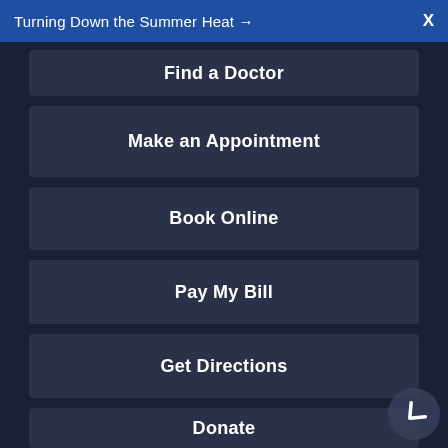Turning Down the Summer Heat → X
Find a Doctor
Make an Appointment
Book Online
Pay My Bill
Get Directions
Donate